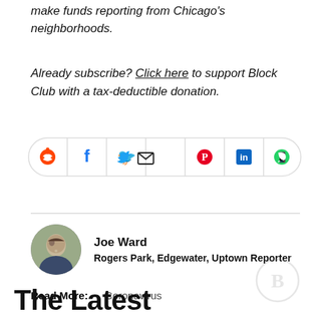make funds reporting from Chicago's neighborhoods.
Already subscribe? Click here to support Block Club with a tax-deductible donation.
[Figure (other): Social share bar with icons for Reddit, Facebook, Twitter, Email, Pinterest, LinkedIn, WhatsApp]
Joe Ward
Rogers Park, Edgewater, Uptown Reporter
Read More: Coronavirus
[Figure (logo): Block Club Chicago watermark logo]
The Latest